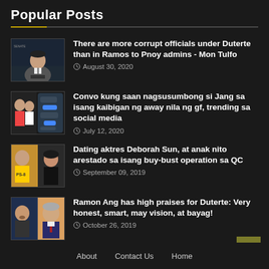Popular Posts
There are more corrupt officials under Duterte than in Ramos to Pnoy admins - Mon Tulfo | August 30, 2020
Convo kung saan nagsusumbong si Jang sa isang kaibigan ng away nila ng gf, trending sa social media | July 12, 2020
Dating aktres Deborah Sun, at anak nito arestado sa isang buy-bust operation sa QC | September 09, 2019
Ramon Ang has high praises for Duterte: Very honest, smart, may vision, at bayag! | October 26, 2019
About   Contact Us   Home